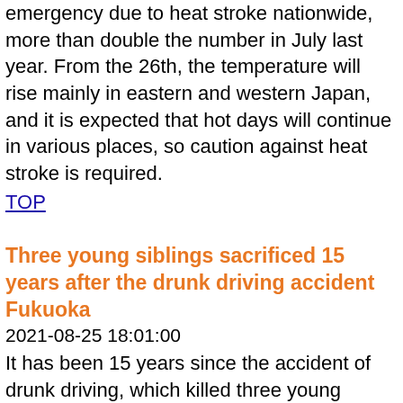emergency due to heat stroke nationwide, more than double the number in July last year. From the 26th, the temperature will rise mainly in eastern and western Japan, and it is expected that hot days will continue in various places, so caution against heat stroke is required.
TOP
Three young siblings sacrificed 15 years after the drunk driving accident Fukuoka
2021-08-25 18:01:00
It has been 15 years since the accident of drunk driving, which killed three young siblings in Fukuoka City, 25 days ago, and events were held in various parts of Fukuoka Prefecture to appeal for the eradication of drunk driving.
TOP
"It is necessary to issue a uniform state of emergency nationwide." Chairman Nakagawa of the Japan Medical